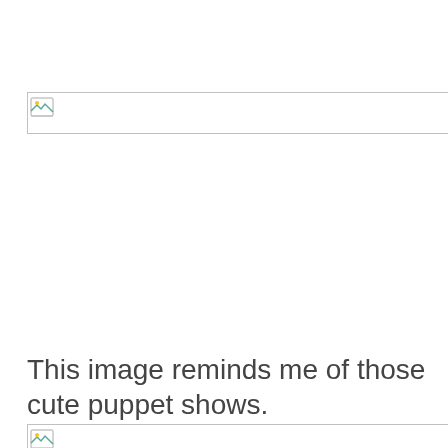[Figure (photo): Broken/missing image placeholder with image icon at top of page]
This image reminds me of those cute puppet shows.
[Figure (photo): Broken/missing image placeholder at bottom of page]